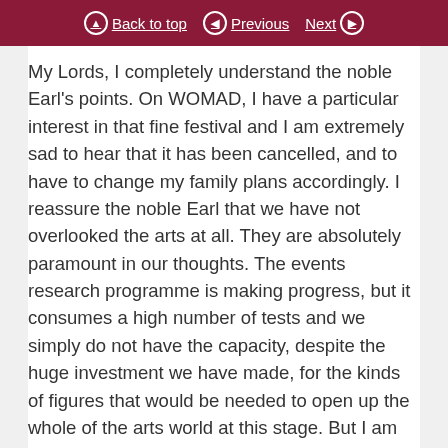Back to top | Previous | Next
My Lords, I completely understand the noble Earl's points. On WOMAD, I have a particular interest in that fine festival and I am extremely sad to hear that it has been cancelled, and to have to change my family plans accordingly. I reassure the noble Earl that we have not overlooked the arts at all. They are absolutely paramount in our thoughts. The events research programme is making progress, but it consumes a high number of tests and we simply do not have the capacity, despite the huge investment we have made, for the kinds of figures that would be needed to open up the whole of the arts world at this stage. But I am hopeful that the research we are doing will create the kind of persuasive data necessary to figure out safe ways of